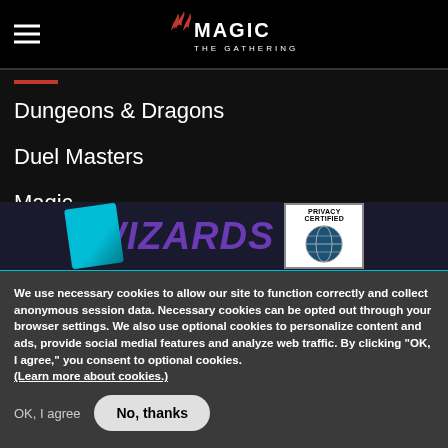Magic: The Gathering site header with hamburger menu and logo
Dungeons & Dragons
Duel Masters
Magic
[Figure (screenshot): Footer banner with Wizards of the Coast logo, Hasbro logo, and Privacy Certified TRUSTe badge]
We use necessary cookies to allow our site to function correctly and collect anonymous session data. Necessary cookies can be opted out through your browser settings. We also use optional cookies to personalize content and ads, provide social medial features and analyze web traffic. By clicking “OK, I agree,” you consent to optional cookies. (Learn more about cookies.)